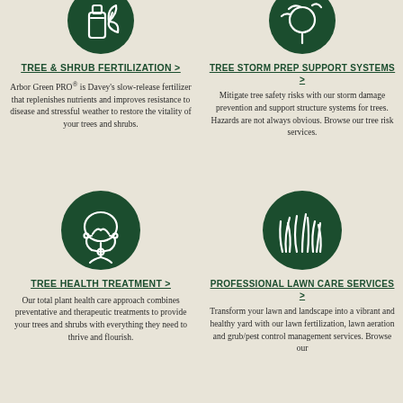[Figure (illustration): Dark green circle icon with a fertilizer/plant bottle graphic, partially cropped at top]
TREE & SHRUB FERTILIZATION >
Arbor Green PRO® is Davey's slow-release fertilizer that replenishes nutrients and improves resistance to disease and stressful weather to restore the vitality of your trees and shrubs.
[Figure (illustration): Dark green circle icon with a tree graphic, partially cropped at top]
TREE STORM PREP SUPPORT SYSTEMS >
Mitigate tree safety risks with our storm damage prevention and support structure systems for trees. Hazards are not always obvious. Browse our tree risk services.
[Figure (illustration): Dark green circle icon with a tree and stethoscope graphic]
TREE HEALTH TREATMENT >
Our total plant health care approach combines preventative and therapeutic treatments to provide your trees and shrubs with everything they need to thrive and flourish.
[Figure (illustration): Dark green circle icon with grass/lawn graphic]
PROFESSIONAL LAWN CARE SERVICES >
Transform your lawn and landscape into a vibrant and healthy yard with our lawn fertilization, lawn aeration and grub/pest control management services. Browse our